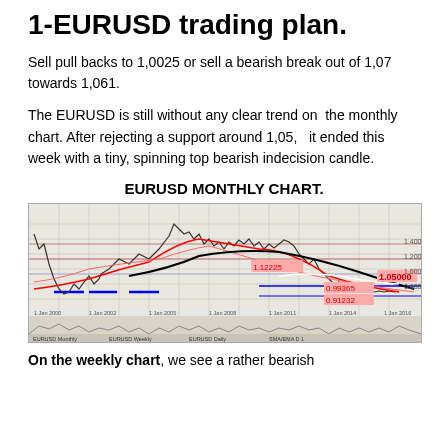1-EURUSD trading plan.
Sell pull backs to 1,0025 or sell a bearish break out of 1,07 towards 1,061.
The EURUSD is still without any clear trend on the monthly chart. After rejecting a support around 1,05,  it ended this week with a tiny, spinning top bearish indecision candle.
EURUSD MONTHLY CHART.
[Figure (continuous-plot): EURUSD monthly candlestick chart showing price history with moving averages (red and black curves), horizontal support/resistance levels (blue and red lines), and annotated price levels including 1.12225, 0.99365, 0.91232, and 1.05000. A volume/oscillator indicator panel is shown below the main chart.]
On the weekly chart, we see a rather bearish